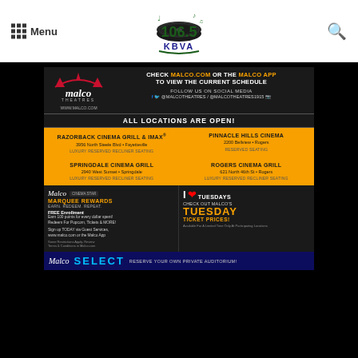Menu | 106.5 KBVA | Search
[Figure (logo): 106.5 KBVA radio station logo with musical notes and vinyl record graphic]
[Figure (infographic): Malco Theatres advertisement: Check malco.com or the Malco App to view the current schedule. Follow us on social media @MalcoTheatres / @MalcoTheatres1915. www.malco.com. All locations are open! Razorback Cinema Grill & IMAX - 3956 North Steele Blvd, Fayetteville, Luxury Reserved Recliner Seating. Pinnacle Hills Cinema - 2200 Bellview, Rogers, Reserved Seating. Springdale Cinema Grill - 2940 West Sunset, Springdale, Luxury Reserved Recliner Seating. Rogers Cinema Grill - 621 North 46th St, Rogers, Luxury Reserved Recliner Seating. Malco Marquee Rewards - EARN. REDEEM. REPEAT. FREE Enrollment. I Love Tuesdays - Check out Malco's Tuesday Ticket Prices! Malco Select - Reserve your own private auditorium!]